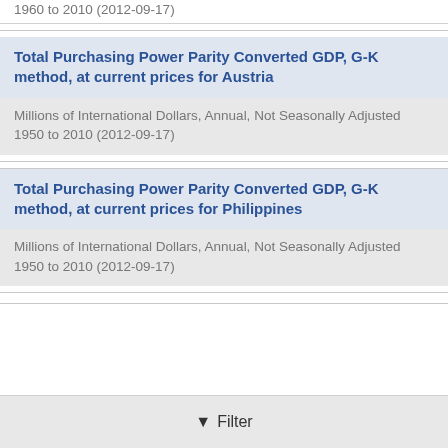1960 to 2010 (2012-09-17)
Total Purchasing Power Parity Converted GDP, G-K method, at current prices for Austria
Millions of International Dollars, Annual, Not Seasonally Adjusted
1950 to 2010 (2012-09-17)
Total Purchasing Power Parity Converted GDP, G-K method, at current prices for Philippines
Millions of International Dollars, Annual, Not Seasonally Adjusted
1950 to 2010 (2012-09-17)
Filter